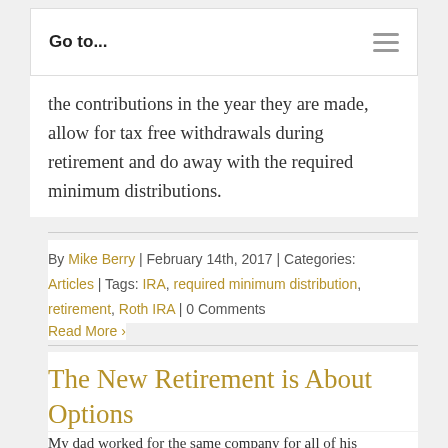Go to...
the contributions in the year they are made, allow for tax free withdrawals during retirement and do away with the required minimum distributions.
By Mike Berry | February 14th, 2017 | Categories: Articles | Tags: IRA, required minimum distribution, retirement, Roth IRA | 0 Comments
Read More >
The New Retirement is About Options
My dad worked for the same company for all of his